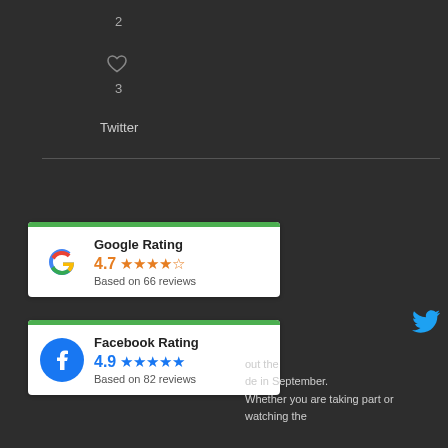2
[Figure (illustration): Heart/like icon outline]
3
Twitter
[Figure (infographic): Google Rating widget: 4.7 stars, Based on 66 reviews]
[Figure (infographic): Facebook Rating widget: 4.9 stars, Based on 82 reviews]
out the
...de in September.
Whether you are taking part or watching the
[Figure (logo): Twitter bird icon]